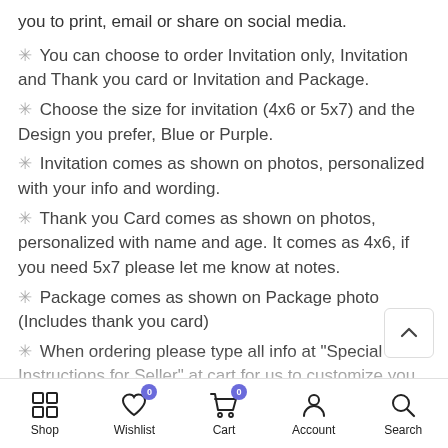you to print, email or share on social media.
✳ You can choose to order Invitation only, Invitation and Thank you card or Invitation and Package.
✳ Choose the size for invitation (4x6 or 5x7) and the Design you prefer, Blue or Purple.
✳ Invitation comes as shown on photos, personalized with your info and wording.
✳ Thank you Card comes as shown on photos, personalized with name and age. It comes as 4x6, if you need 5x7 please let me know at notes.
✳ Package comes as shown on Package photo (Includes thank you card)
✳ When ordering please type all info at "Special Instructions for Seller" at cart for us to customize you (Please don't use all caps, we copy and paste from your
Shop | Wishlist | Cart | Account | Search